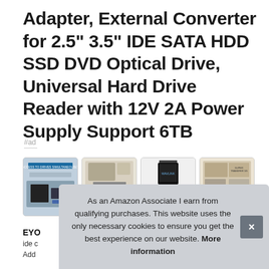Adapter, External Converter for 2.5" 3.5" IDE SATA HDD SSD DVD Optical Drive, Universal Hard Drive Reader with 12V 2A Power Supply Support 6TB
#ad
[Figure (photo): Four product thumbnail images showing the USB to IDE/SATA adapter in various contexts]
EYO
ide c
Add
As an Amazon Associate I earn from qualifying purchases. This website uses the only necessary cookies to ensure you get the best experience on our website. More information